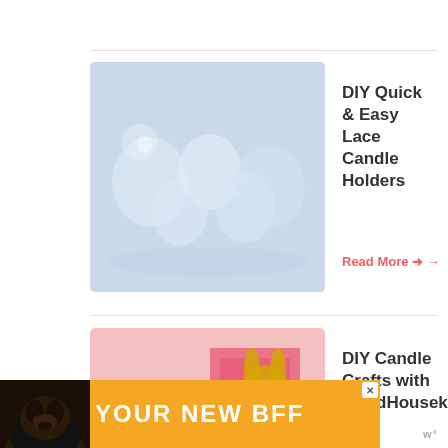[Figure (photo): Photo of glass candle holders with white flowers on light blue background]
DIY Quick & Easy Lace Candle Holders
Read More →
[Figure (photo): Photo of DIY candles with gold glitter decorations on pink background with hearts]
DIY Candle Crafts with GoodHousekeeping.com
Read More →
[Figure (photo): Photo of Easter egg candles with flowers]
DIY Easter Egg Candles
WHAT'S NEXT → DIY Tea Cup Scented...
[Figure (photo): Advertisement banner with dog and text YOUR NEW BFF on orange background]